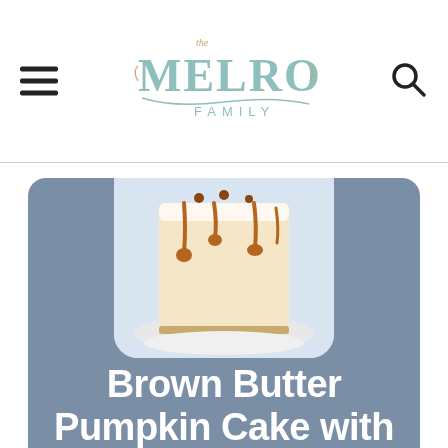The Melrose Family
[Figure (photo): A tall layered pumpkin cake with white frosting and caramel drizzle dripping down the sides, sitting on a white plate]
Brown Butter Pumpkin Cake with Salted Caramel Frosting and Toffee
This cake is 3 layers of fluffy, moist brown butter pumpkin cake that's slathered in the most luxurious...